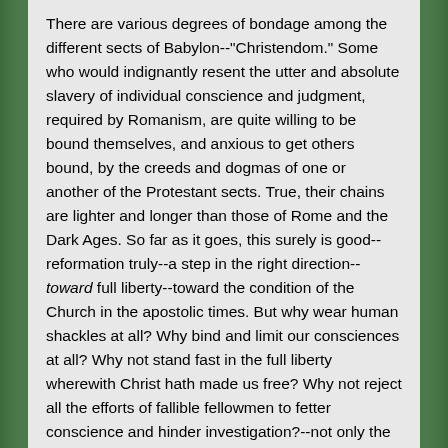There are various degrees of bondage among the different sects of Babylon--"Christendom." Some who would indignantly resent the utter and absolute slavery of individual conscience and judgment, required by Romanism, are quite willing to be bound themselves, and anxious to get others bound, by the creeds and dogmas of one or another of the Protestant sects. True, their chains are lighter and longer than those of Rome and the Dark Ages. So far as it goes, this surely is good--reformation truly--a step in the right direction--toward full liberty--toward the condition of the Church in the apostolic times. But why wear human shackles at all? Why bind and limit our consciences at all? Why not stand fast in the full liberty wherewith Christ hath made us free? Why not reject all the efforts of fallible fellowmen to fetter conscience and hinder investigation?--not only the efforts of the remote past, of the Dark Ages, but the efforts of the various reformers of the more recent past? Why not conclude to be as was the apostolic Church?--free to grow in knowledge as well as